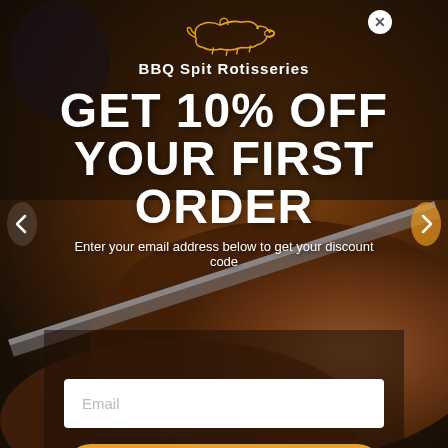[Figure (photo): Background photo of grilled/roasted meat being carved with a knife, close-up BBQ scene]
[Figure (logo): BBQ Spit Rotisseries logo with illustrated pig outline in orange/gold and white text 'BBQ Spit Rotisseries']
GET 10% OFF YOUR FIRST ORDER
Enter your email address below to get your discount code
Email
REVEAL YOUR CODE
*By completing this form, you are signing up